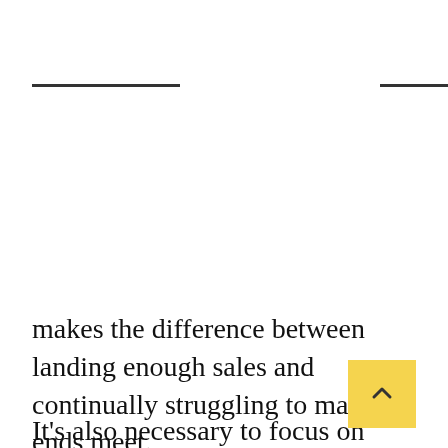makes the difference between landing enough sales and continually struggling to make ends meet.
It's also necessary to focus on strategic